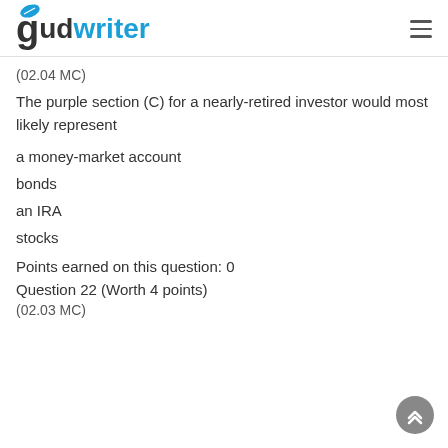gudwriter
(02.04 MC)
The purple section (C) for a nearly-retired investor would most likely represent
a money-market account
bonds
an IRA
stocks
Points earned on this question: 0
Question 22 (Worth 4 points)
(02.03 MC)